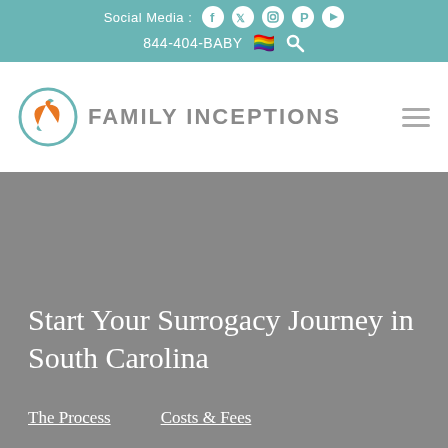Social Media : [Facebook] [Twitter] [Instagram] [Pinterest] [YouTube] | 844-404-BABY 🏳️‍🌈 🔍
[Figure (logo): Family Inceptions logo: teal and orange leaf/plant design with text FAMILY INCEPTIONS]
Start Your Surrogacy Journey in South Carolina
The Process
Costs & Fees